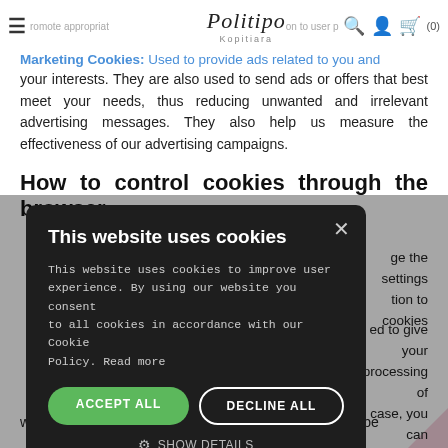Politipo Kopitiara — navigation bar with hamburger menu, logo, search, user, and cart icons
Marketing Cookies: Used to provide ads related to you and your interests. They are also used to send ads or offers that best meet your needs, thus reducing unwanted and irrelevant advertising messages. They also help us measure the effectiveness of our advertising campaigns.
How to control cookies through the browser
...ge the settings ...tion to cookies
[Figure (screenshot): Cookie consent modal overlay on dark background. Title: 'This website uses cookies'. Body text: 'This website uses cookies to improve user experience. By using our website you consent to all cookies in accordance with our Cookie Policy. Read more'. Buttons: ACCEPT ALL (green), DECLINE ALL (white outline). Show Details option. Powered by CookieScript footer.]
will be clearly and comprehensibly presented. It should be